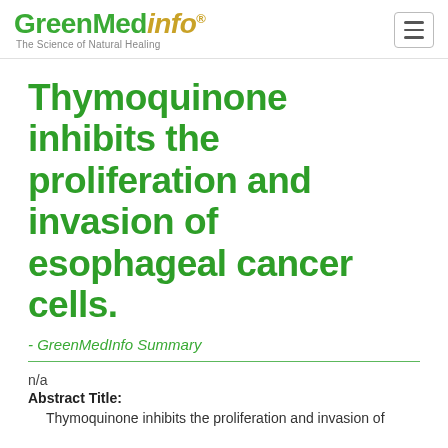GreenMedInfo — The Science of Natural Healing
Thymoquinone inhibits the proliferation and invasion of esophageal cancer cells.
- GreenMedInfo Summary
n/a
Abstract Title: Thymoquinone inhibits the proliferation and invasion of